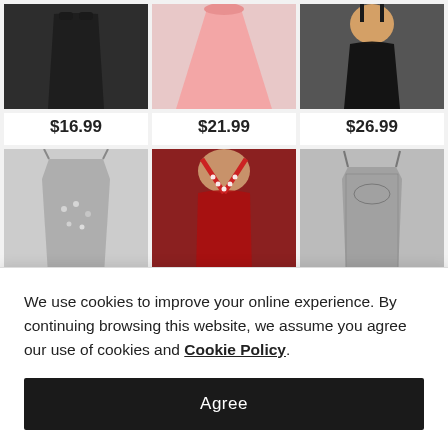[Figure (photo): Black bodycon mini dress product photo]
[Figure (photo): Pink flare skirt product photo]
[Figure (photo): Black leather mini dress on plus-size model]
$16.99
$21.99
$26.99
[Figure (photo): Silver sequin camisole top product photo]
[Figure (photo): Red embellished bodysuit on model]
[Figure (photo): Gray lace corset dress product photo]
We use cookies to improve your online experience. By continuing browsing this website, we assume you agree our use of cookies and Cookie Policy.
Agree